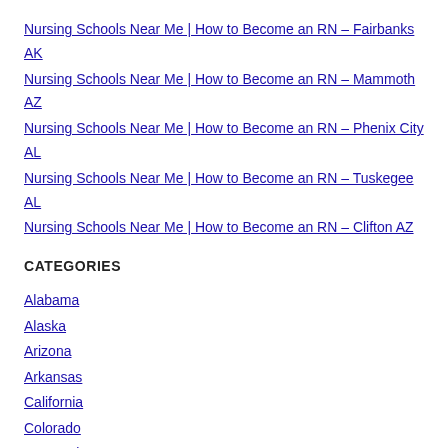Nursing Schools Near Me | How to Become an RN – Fairbanks AK
Nursing Schools Near Me | How to Become an RN – Mammoth AZ
Nursing Schools Near Me | How to Become an RN – Phenix City AL
Nursing Schools Near Me | How to Become an RN – Tuskegee AL
Nursing Schools Near Me | How to Become an RN – Clifton AZ
CATEGORIES
Alabama
Alaska
Arizona
Arkansas
California
Colorado
Connecticut
Delaware
District of Columbia
Florida